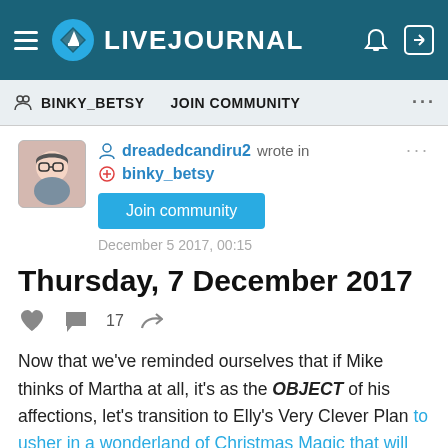LIVEJOURNAL
BINKY_BETSY   JOIN COMMUNITY   ...
dreadedcandiru2 wrote in binky_betsy
Join community
December 5 2017, 00:15
Thursday, 7 December 2017
♥  💬 17  ↗
Now that we've reminded ourselves that if Mike thinks of Martha at all, it's as the OBJECT of his affections, let's transition to Elly's Very Clever Plan to usher in a wonderland of Christmas Magic that will make her